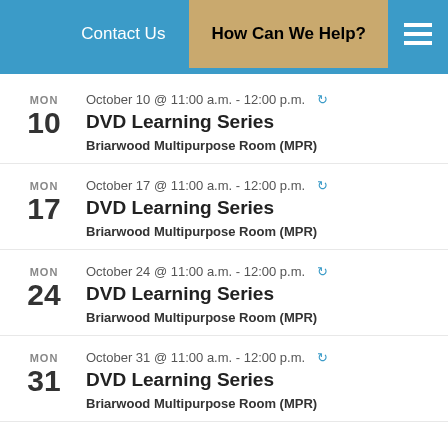Contact Us | How Can We Help?
MON 10 — October 10 @ 11:00 a.m. - 12:00 p.m. — DVD Learning Series — Briarwood Multipurpose Room (MPR)
MON 17 — October 17 @ 11:00 a.m. - 12:00 p.m. — DVD Learning Series — Briarwood Multipurpose Room (MPR)
MON 24 — October 24 @ 11:00 a.m. - 12:00 p.m. — DVD Learning Series — Briarwood Multipurpose Room (MPR)
MON 31 — October 31 @ 11:00 a.m. - 12:00 p.m. — DVD Learning Series — Briarwood Multipurpose Room (MPR)